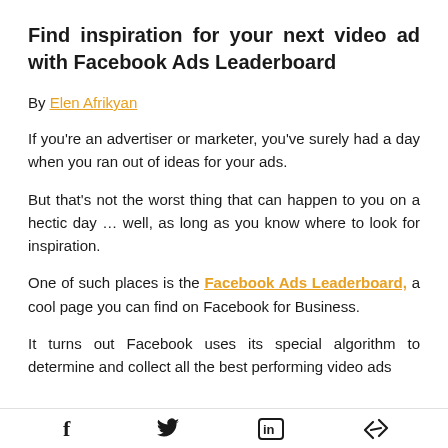Find inspiration for your next video ad with Facebook Ads Leaderboard
By Elen Afrikyan
If you're an advertiser or marketer, you've surely had a day when you ran out of ideas for your ads.
But that's not the worst thing that can happen to you on a hectic day … well, as long as you know where to look for inspiration.
One of such places is the Facebook Ads Leaderboard, a cool page you can find on Facebook for Business.
It turns out Facebook uses its special algorithm to determine and collect all the best performing video ads
f  [Twitter bird]  in  [link icon]